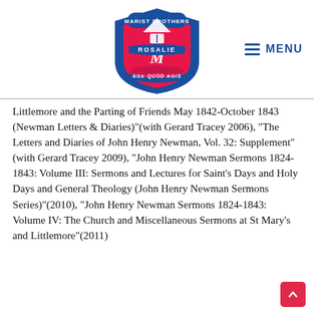[Figure (logo): Marist Brothers Rosalie school crest/logo — shield with red and navy blue, featuring an open book, 'M' monogram, banner reading 'Age Quod Agis']
MENU
Littlemore and the Parting of Friends May 1842-October 1843 (Newman Letters & Diaries)"(with Gerard Tracey 2006), “The Letters and Diaries of John Henry Newman, Vol. 32: Supplement” (with Gerard Tracey 2009), “John Henry Newman Sermons 1824-1843: Volume III: Sermons and Lectures for Saint’s Days and Holy Days and General Theology (John Henry Newman Sermons Series)”(2010), “John Henry Newman Sermons 1824-1843: Volume IV: The Church and Miscellaneous Sermons at St Mary’s and Littlemore”(2011)